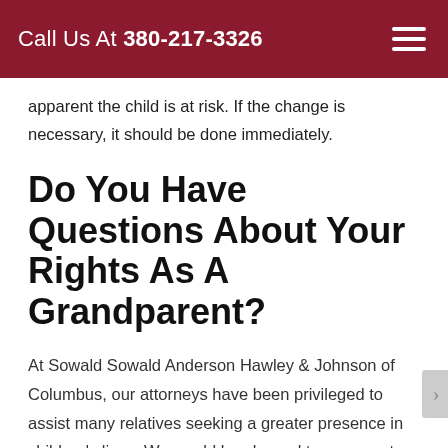Call Us At 380-217-3326
apparent the child is at risk. If the change is necessary, it should be done immediately.
Do You Have Questions About Your Rights As A Grandparent?
At Sowald Sowald Anderson Hawley & Johnson of Columbus, our attorneys have been privileged to assist many relatives seeking a greater presence in children's lives. We would be pleased to represent you as well.
Call us at 380-217-3326 or email us using this online form.